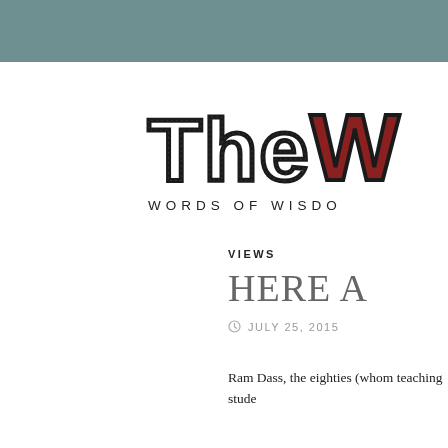[Figure (logo): Decorative hand-drawn logo reading 'The W...' with subtitle 'WORDS OF WISDO...' — partially cropped at right edge]
VIEWS
HERE A
JULY 25, 2015
Ram Dass, the eighties (whom teaching stude